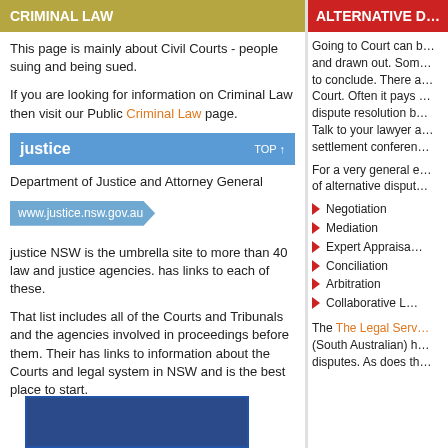CRIMINAL LAW
This page is mainly about Civil Courts - people suing and being sued.
If you are looking for information on Criminal Law then visit our Public Criminal Law page.
justice   TOP ↑
Department of Justice and Attorney General
www.justice.nsw.gov.au
justice NSW is the umbrella site to more than 40 law and justice agencies. has links to each of these.
That list includes all of the Courts and Tribunals and the agencies involved in proceedings before them. Their has links to information about the Courts and legal system in NSW and is the best place to start.
[Figure (screenshot): Blue banner image at bottom of left column]
ALTERNATIVE D…
Going to Court can b… and drawn out. Som… to conclude. There a… Court. Often it pays … dispute resolution b… Talk to your lawyer a… settlement conferen…
For a very general e… of alternative disput…
Negotiation
Mediation
Expert Appraisa…
Conciliation
Arbitration
Collaborative L…
The The Legal Serv… (South Australian) h… disputes. As does th…